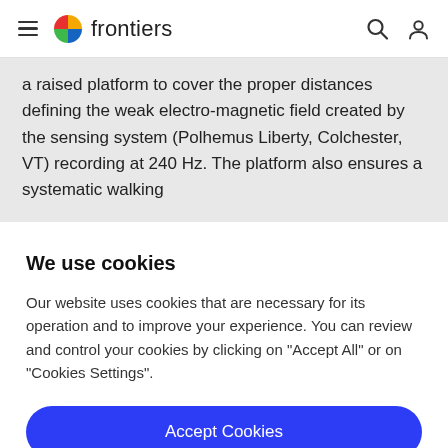frontiers
a raised platform to cover the proper distances defining the weak electro-magnetic field created by the sensing system (Polhemus Liberty, Colchester, VT) recording at 240 Hz. The platform also ensures a systematic walking
We use cookies
Our website uses cookies that are necessary for its operation and to improve your experience. You can review and control your cookies by clicking on "Accept All" or on "Cookies Settings".
Accept Cookies
Cookies Settings